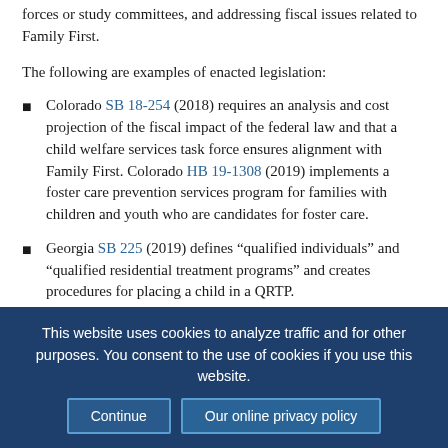forces or study committees, and addressing fiscal issues related to Family First.
The following are examples of enacted legislation:
Colorado SB 18-254 (2018) requires an analysis and cost projection of the fiscal impact of the federal law and that a child welfare services task force ensures alignment with Family First. Colorado HB 19-1308 (2019) implements a foster care prevention services program for families with children and youth who are candidates for foster care.
Georgia SB 225 (2019) defines “qualified individuals” and “qualified residential treatment programs” and creates procedures for placing a child in a QRTP.
Iowa House File 766 (2019) creates a group foster care
This website uses cookies to analyze traffic and for other purposes. You consent to the use of cookies if you use this website.